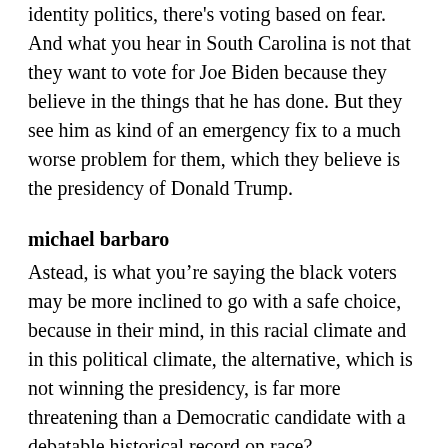identity politics, there's voting based on fear. And what you hear in South Carolina is not that they want to vote for Joe Biden because they believe in the things that he has done. But they see him as kind of an emergency fix to a much worse problem for them, which they believe is the presidency of Donald Trump.
michael barbaro
Astead, is what you’re saying the black voters may be more inclined to go with a safe choice, because in their mind, in this racial climate and in this political climate, the alternative, which is not winning the presidency, is far more threatening than a Democratic candidate with a debatable historical record on race?
astead herndon
Yep. And I think it’s important to make distinctions when we talk about black voters. We particularly see that kind of calculation among older black voters and